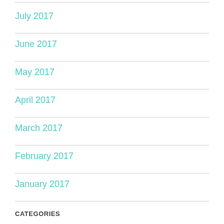July 2017
June 2017
May 2017
April 2017
March 2017
February 2017
January 2017
CATEGORIES